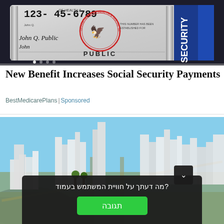[Figure (photo): Close-up of a US Social Security card showing number 123-45-6789 and name John Q. Public, with Department of Health seal and blue bar on right]
New Benefit Increases Social Security Payments
BestMedicarePlans | Sponsored
[Figure (photo): 3D aerial rendering of a coastal city with tall buildings, with a dark semi-transparent popup overlay in Hebrew asking 'What is your opinion about the user experience on the page?' with a green 'תגובה' (Response) button]